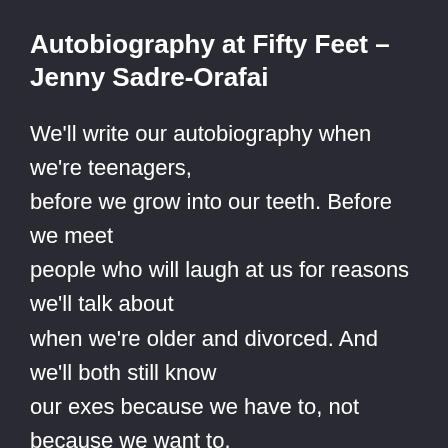Autobiography at Fifty Feet – Jenny Sadre-Orafai
We'll write our autobiography when we're teenagers,
before we grow into our teeth. Before we meet
people who will laugh at us for reasons we'll talk about
when we're older and divorced. And we'll both still know
our exes because we have to, not because we want to.
We'll write our autobiography just before